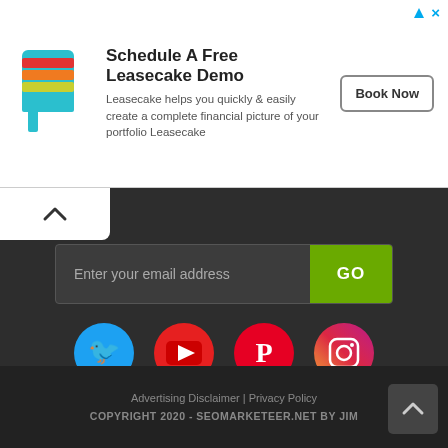[Figure (illustration): Advertisement banner for Leasecake with logo, text and Book Now button]
Schedule A Free Leasecake Demo
Leasecake helps you quickly & easily create a complete financial picture of your portfolio Leasecake
[Figure (illustration): Social media icons: Twitter, YouTube, Pinterest, Instagram]
Advertising Disclaimer
Privacy Policy
Advertising Disclaimer | Privacy Policy
COPYRIGHT 2020 - SEOMARKETEER.NET BY JIM